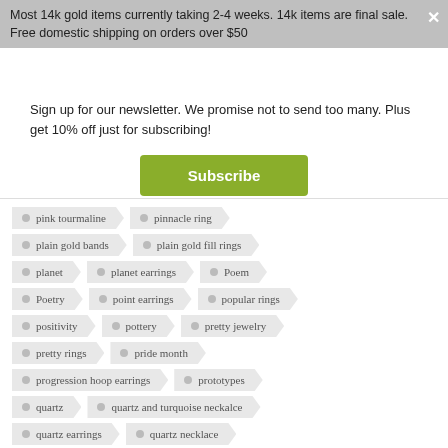Most 14k gold items currently taking 2-4 weeks. 14k items are final sale. Free domestic shipping on orders over $50
Sign up for our newsletter. We promise not to send too many. Plus get 10% off just for subscribing!
Subscribe
pink tourmaline
pinnacle ring
plain gold bands
plain gold fill rings
planet
planet earrings
Poem
Poetry
point earrings
popular rings
positivity
pottery
pretty jewelry
pretty rings
pride month
progression hoop earrings
prototypes
quartz
quartz and turquoise neckalce
quartz earrings
quartz necklace
quotes
rachel melvin
rainbow moonstone
rainbows